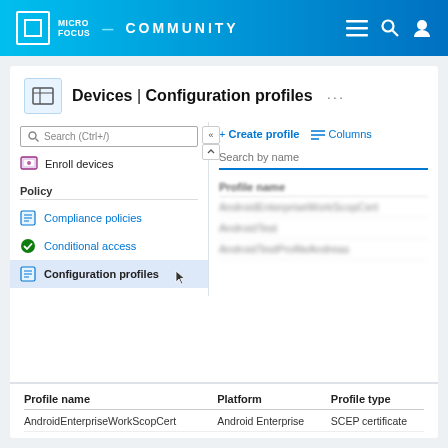MICRO FOCUS COMMUNITY
Devices | Configuration profiles
Search (Ctrl+/)
Enroll devices
Policy
Compliance policies
Conditional access
Configuration profiles
+ Create profile  ≡≡ Columns
Search by name
Profile name (blurred)
AndroidEnterpriseWorkScopCert (blurred)
AndroidTest (blurred)
AndroidTestProfileAndreas (blurred)
| Profile name | Platform | Profile type |
| --- | --- | --- |
| AndroidEnterpriseWorkScopCert | Android Enterprise | SCEP certificate |